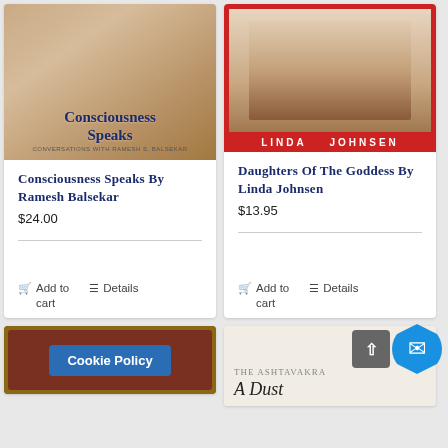[Figure (illustration): Book cover of Consciousness Speaks by Ramesh S. Balsekar with tan/beige tones]
Consciousness Speaks by Ramesh Balsekar
$24.00
Add to cart   Details
[Figure (illustration): Book cover of Daughters of the Goddess by Linda Johnsen with red border and photo]
Daughters of the Goddess by Linda Johnsen
$13.95
Add to cart   Details
[Figure (illustration): Bottom-left: brown book cover partially visible with Cookie Policy overlay button]
Cookie Policy
[Figure (illustration): Bottom-right: partial book cover for The Ashtavakra with cursive text 'A Dust']